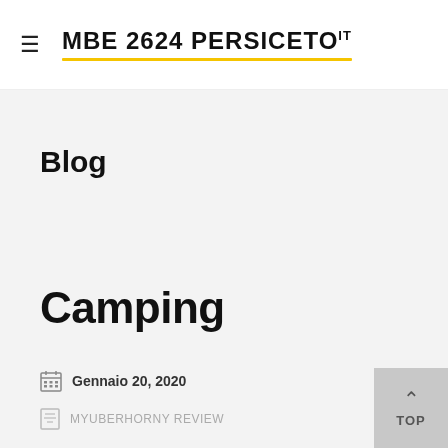≡ MBE 2624 PERSICETO IT
Blog
Camping
Gennaio 20, 2020
MYUBERHORNY REVIEW